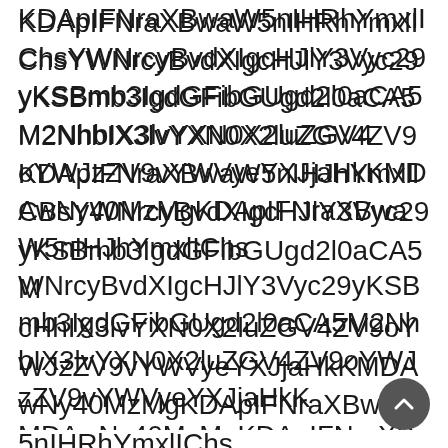KDApIFNraXBwaW5nIHRhYmxlIAhvy1chjcg KDApIFNraXBwaW5nIHRhYmxlIChsYWNrcyBvdXIgcHJlY3Vyc29yKSBmb3IgdGFibGUgd2l0aCA5M2NhbIX3lvYXN0X2luZGV4ZV9oYWJzZV9vYWVyeYXJjaHkKMDAwNy40MzMgKDApIFNraXBwaW5nIHRhYmxlIChsYWNrcyBvdXIgcHJlY3Vyc29yKSBmb3IgdGFibGUgd2l0aCA5M2NhbIX3lvYXN0X2luZGV4ZV9oYWJzZV9vYWVyeYXJjaHkKMDAwNy40MzkgKDApIFNraXBwaW5nIHRhYmxlIChsYWNrcyBvdXIgcHJlY3Vyc29yKSBmb3IgdGFibGUgd2l0aCA5M2NhbIX3lvYXN0X2luZGV4ZV9oYWJzZV9vYWVyeYXJjaHkwNy40MzkgKDApIFNraXBwaW5nIHRhYmxlIChsYWNrcyBvdXIgcHJlY3Vyc29yKSBmb3IgdGFibGUgd2l0aCA5M2NhbIX3lvYXN0X2luZGV4ZV9oYWJzZV9vYWVyeYXJjaHkwNy40MzkgKDApIFNraXBwaW5nIHRhYmxlIChsYWNrcyBvdXIgcHJlY3Vyc29yKSBmb3IgdGFibGUgd2l0aCA5M2NhbIX3lvYXN0